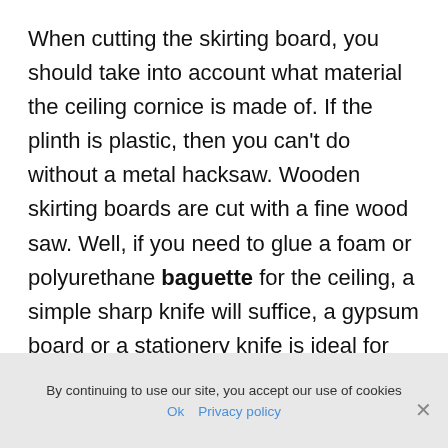When cutting the skirting board, you should take into account what material the ceiling cornice is made of. If the plinth is plastic, then you can't do without a metal hacksaw. Wooden skirting boards are cut with a fine wood saw. Well, if you need to glue a foam or polyurethane baguette for the ceiling, a simple sharp knife will suffice, a gypsum board or a stationery knife is ideal for this case.
In addition to cutting tools, you may also need such tools:
By continuing to use our site, you accept our use of cookies  Ok  Privacy policy